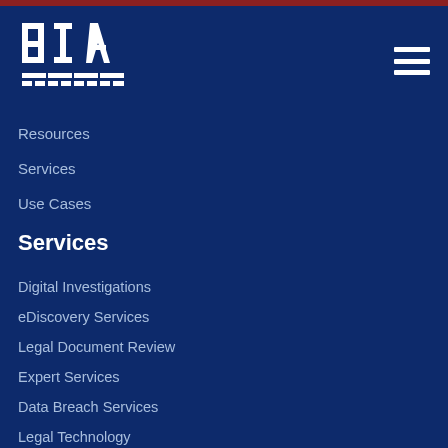[Figure (logo): BIA logo — white letters B, I, A with geometric grid lines below on dark blue background]
Resources
Services
Use Cases
Services
Digital Investigations
eDiscovery Services
Legal Document Review
Expert Services
Data Breach Services
Legal Technology
Data Privacy Compliance
Enterprise Data Services